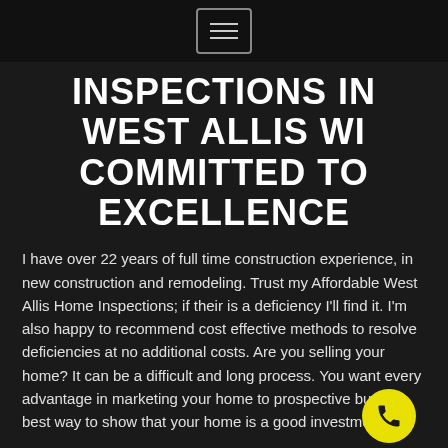☰
INSPECTIONS IN WEST ALLIS WI COMMITTED TO EXCELLENCE
I have over 22 years of full time construction experience, in new construction and remodeling. Trust my Affordable West Allis Home Inspections; if their is a deficiency I'll find it. I'm also happy to recommend cost effective methods to resolve deficiencies at no additional costs. Are you selling your home? It can be a difficult and long process. You want every advantage in marketing your home to prospective buyers best way to show that your home is a good investment is to